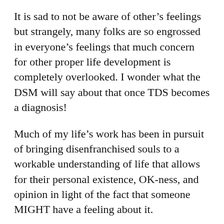It is sad to not be aware of other's feelings but strangely, many folks are so engrossed in everyone's feelings that much concern for other proper life development is completely overlooked. I wonder what the DSM will say about that once TDS becomes a diagnosis!
Much of my life's work has been in pursuit of bringing disenfranchised souls to a workable understanding of life that allows for their personal existence, OK-ness, and opinion in light of the fact that someone MIGHT have a feeling about it.
It would be superb to read articles from REAL narcissists to learn the more subtle nuances to be able to write quality 1st person self-absorbed narrative. (mine suck!)
This is a fantastic article. I had to read a bunch of TLP's page for better grip. I will be studying his